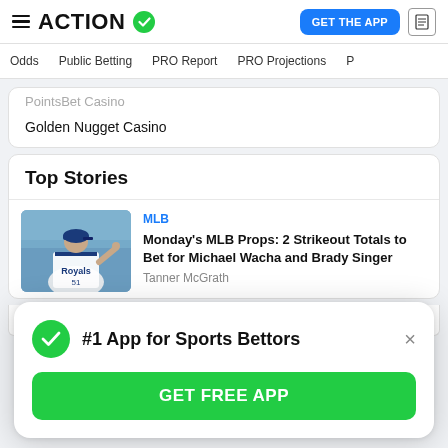ACTION [logo] | GET THE APP [button]
Odds  Public Betting  PRO Report  PRO Projections
PointsBet Casino
Golden Nugget Casino
Top Stories
MLB
Monday's MLB Props: 2 Strikeout Totals to Bet for Michael Wacha and Brady Singer
Tanner McGrath
#1 App for Sports Bettors
GET FREE APP